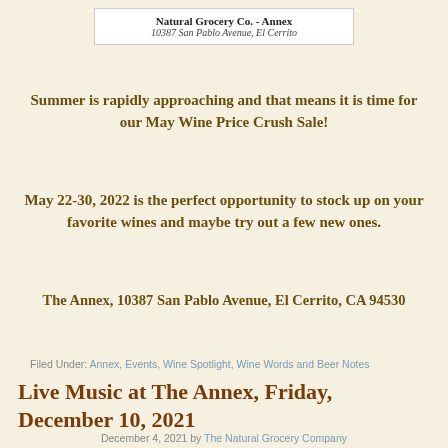Natural Grocery Co. - Annex
10387 San Pablo Avenue, El Cerrito
Summer is rapidly approaching and that means it is time for our May Wine Price Crush Sale!
May 22-30, 2022 is the perfect opportunity to stock up on your favorite wines and maybe try out a few new ones.
The Annex, 10387 San Pablo Avenue, El Cerrito, CA 94530
Filed Under: Annex, Events, Wine Spotlight, Wine Words and Beer Notes
Live Music at The Annex, Friday, December 10, 2021
December 4, 2021 by The Natural Grocery Company